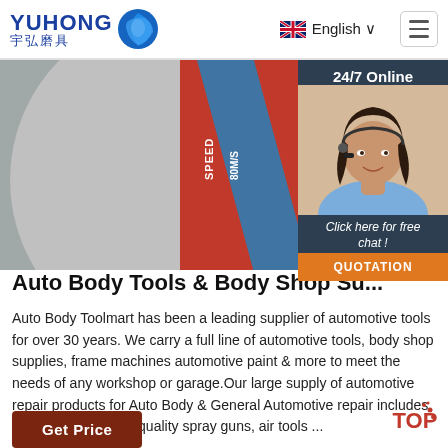YUHONG 宇弘磨具 | English
[Figure (photo): Close-up of a red and grey abrasive cutting wheel with WARNING label text and barcode, speed 80M/S marking visible]
[Figure (photo): 24/7 Online chat agent - smiling woman with headset, with 'Click here for free chat!' text and orange QUOTATION button]
Auto Body Tools & Body Shop Su...
Auto Body Toolmart has been a leading supplier of automotive tools for over 30 years. We carry a full line of automotive tools, body shop supplies, frame machines automotive paint & more to meet the needs of any workshop or garage.Our large supply of automotive repair products for Auto Body & General Automotive repair includes some of the highest quality spray guns, air tools ...
Get Price